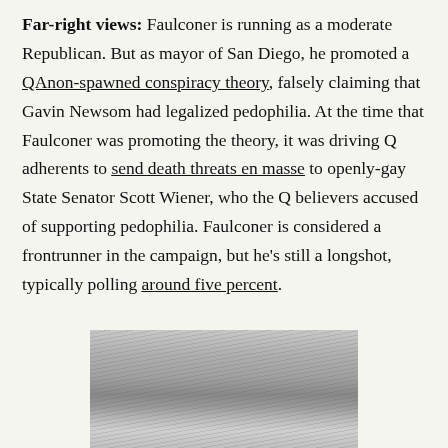Far-right views: Faulconer is running as a moderate Republican. But as mayor of San Diego, he promoted a QAnon-spawned conspiracy theory, falsely claiming that Gavin Newsom had legalized pedophilia. At the time that Faulconer was promoting the theory, it was driving Q adherents to send death threats en masse to openly-gay State Senator Scott Wiener, who the Q believers accused of supporting pedophilia. Faulconer is considered a frontrunner in the campaign, but he's still a longshot, typically polling around five percent.
[Figure (photo): Black and white photo showing the top portion of a person's face with hair visible, cropped at approximately forehead level.]